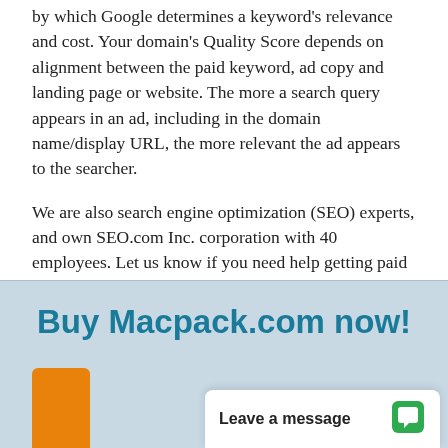by which Google determines a keyword's relevance and cost. Your domain's Quality Score depends on alignment between the paid keyword, ad copy and landing page or website. The more a search query appears in an ad, including in the domain name/display URL, the more relevant the ad appears to the searcher.
We are also search engine optimization (SEO) experts, and own SEO.com Inc. corporation with 40 employees. Let us know if you need help getting paid or organic traffic; help in getting to the top of Google.
Buy Macpack.com now!
[Figure (screenshot): Chat widget showing 'Leave a message' with green chat bubble icon]